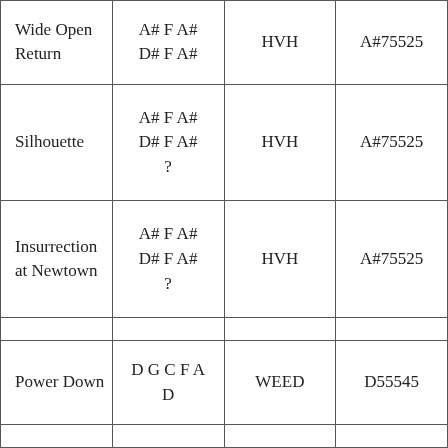| Wide Open Return | A# F A#
D# F A# | HVH | A#75525 |
| Silhouette | A# F A#
D# F A#
? | HVH | A#75525 |
| Insurrection at Newtown | A# F A#
D# F A#
? | HVH | A#75525 |
|  |  |  |  |
| Power Down | D G C F A
D | WEED | D55545 |
|  |  |  |  |